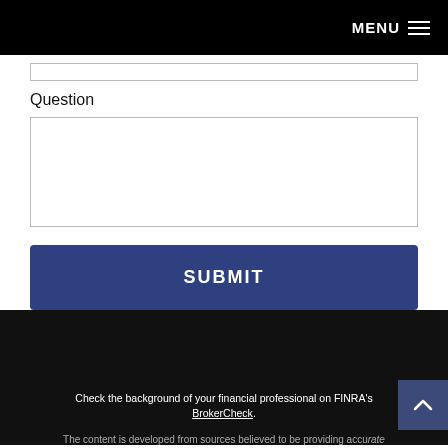MENU ☰
Question
[text input field]
[textarea input field]
SUBMIT
Check the background of your financial professional on FINRA's BrokerCheck. The content is developed from sources believed to be providing accurate
^